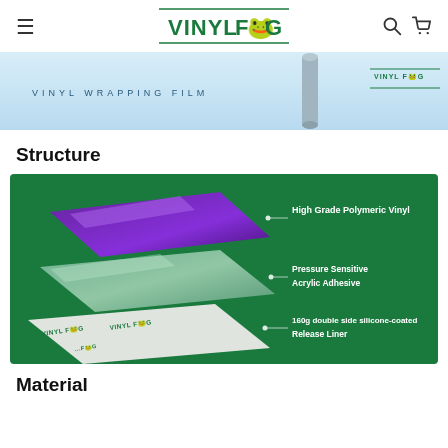VINYL FROG (logo with hamburger menu, search icon, cart icon)
[Figure (photo): Vinyl Frog vinyl wrapping film roll product image strip, light blue background with text 'VINYL WRAPPING FILM' and Vinyl Frog logo on the right]
Structure
[Figure (infographic): Dark green background diagram showing three layers of vinyl wrap product: top layer is purple/violet 'High Grade Polymeric Vinyl', middle layer is sage green 'Pressure Sensitive Acrylic Adhesive', bottom layer is white with Vinyl Frog logos '160g double side silicone-coated Release Liner'. Each layer labeled with lines pointing to text on the right.]
Material